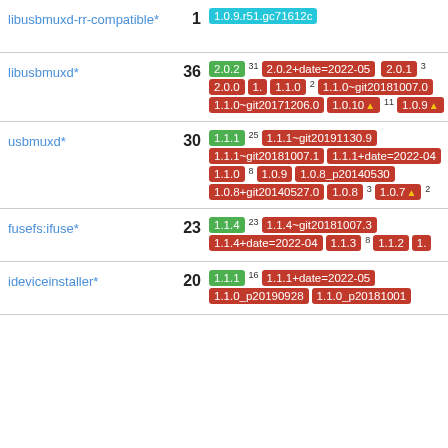| Package | Count | Latest | Other versions |
| --- | --- | --- | --- |
| libusbmuxd-rr-compatible* | 1 | 1.0.9.r51.gc71612c |  |
| libusbmuxd* | 36 | 2.0.2 (31) | 2.0.2+date=2022-05-..., 2.0.1 (3), 2.0.0, 1..., 1.1.0 (2), 1.1.0~git20181007..., 1.1.0~git20171206..., 1.0.10▲ (11), 1.0.9▲... |
| usbmuxd* | 30 | 1.1.1 (25) | 1.1.1~git20191130..., 1.1.1~git20181007..., 1.1.1+date=2022-04-..., 1.1.0 (8), 1.0.9, 1.0.8_p20140530, 1.0.8+git20140527..., 1.0.8 (3), 1.0.7▲ (2) |
| fusefs:ifuse* | 23 | 1.1.4 (23) | 1.1.4~git20181007..., 1.1.4+date=2022-04-..., 1.1.3 (8), 1.1.2, 1... |
| ideviceinstaller* | 20 | 1.1.1 (16) | 1.1.1+date=2022-05-..., 1.1.0_p20190928, 1.1.0_p20181001 |